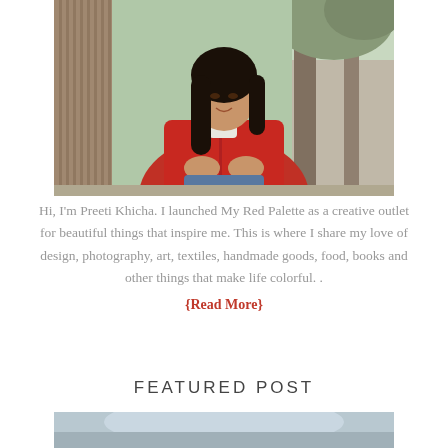[Figure (photo): Woman in red quilted jacket sitting outdoors near trees and a wooden structure, smiling at camera]
Hi, I'm Preeti Khicha. I launched My Red Palette as a creative outlet for beautiful things that inspire me. This is where I share my love of design, photography, art, textiles, handmade goods, food, books and other things that make life colorful. .
{Read More}
FEATURED POST
[Figure (photo): Partial view of a blurred outdoor scene, bottom of page]